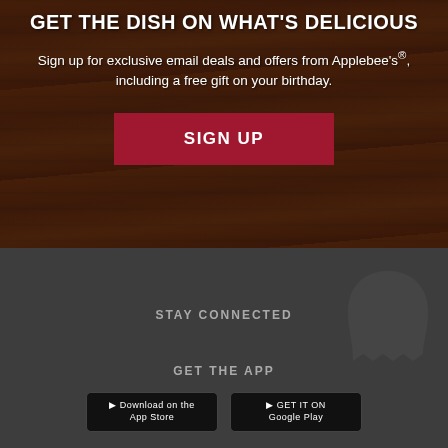GET THE DISH ON WHAT'S DELICIOUS
Sign up for exclusive email deals and offers from Applebee's®, including a free gift on your birthday.
SIGN UP
STAY CONNECTED
GET THE APP
[Figure (logo): App store download badges: Download on the App Store and GET IT ON Google Play]
[Figure (illustration): Faint ghost/leaf logo watermark in bottom right of dark section]